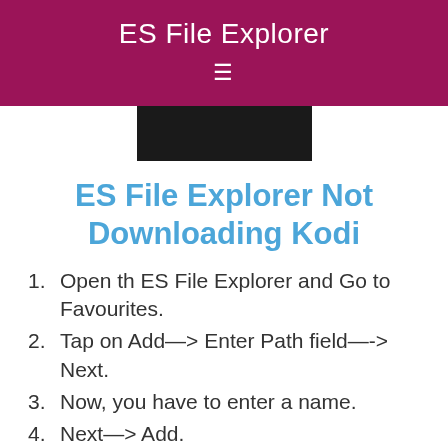ES File Explorer
[Figure (other): Black rectangular image bar, partially visible, centered]
ES File Explorer Not Downloading Kodi
Open th ES File Explorer and Go to Favourites.
Tap on Add—-> Enter Path field—-> Next.
Now, you have to enter a name.
Next—> Add.